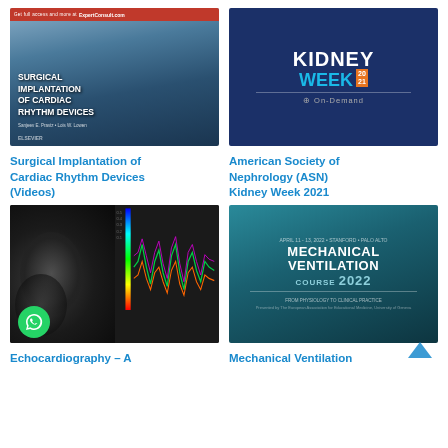[Figure (illustration): Book cover: Surgical Implantation of Cardiac Rhythm Devices with ExpertConsult.com badge and Elsevier logo]
Surgical Implantation of Cardiac Rhythm Devices (Videos)
[Figure (illustration): Kidney Week 2021 On-Demand conference logo on dark navy background]
American Society of Nephrology (ASN) Kidney Week 2021
[Figure (illustration): Echocardiography cover showing cardiac scan image and waveform display with WhatsApp icon overlay]
Echocardiography – A
[Figure (illustration): Mechanical Ventilation Course 2022 cover with teal background and subtitle From Physiology to Clinical Practice]
Mechanical Ventilation